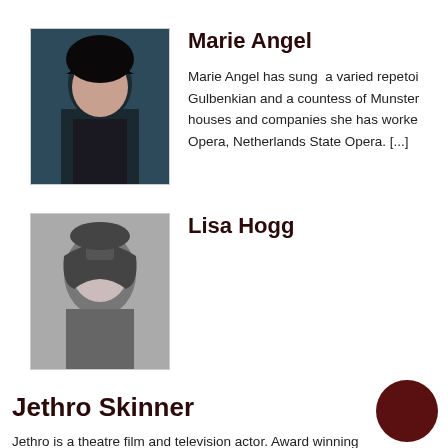[Figure (photo): Color portrait photo of Marie Angel, a woman with dark hair, posing with chin resting on hand]
Marie Angel
Marie Angel has sung  a varied repetoi Gulbenkian and a countess of Munster houses and companies she has worke Opera, Netherlands State Opera. [...]
[Figure (photo): Black and white portrait photo of Lisa Hogg, a woman with a short bob haircut]
Lisa Hogg
Jethro Skinner
Jethro is a theatre film and television actor. Award winning JUNGLE OF THE CITY